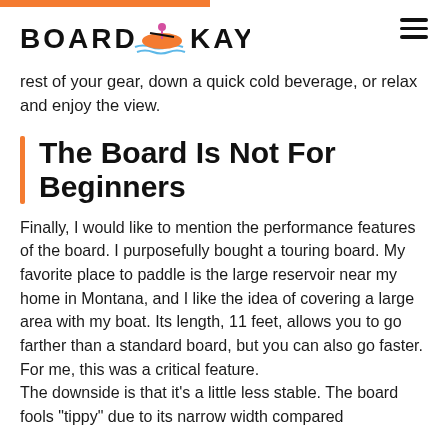BOARD & KAYAK
rest of your gear, down a quick cold beverage, or relax and enjoy the view.
The Board Is Not For Beginners
Finally, I would like to mention the performance features of the board. I purposefully bought a touring board. My favorite place to paddle is the large reservoir near my home in Montana, and I like the idea of covering a large area with my boat. Its length, 11 feet, allows you to go farther than a standard board, but you can also go faster. For me, this was a critical feature.
The downside is that it's a little less stable. The board fools "tippy" due to its narrow width compared